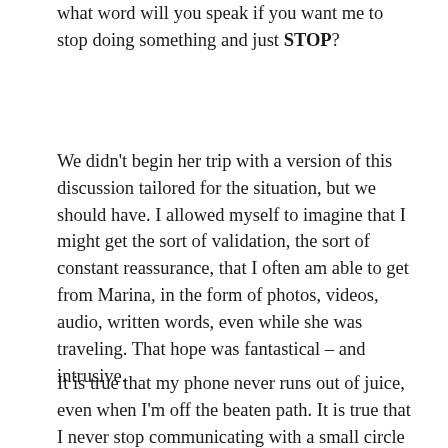what word will you speak if you want me to stop doing something and just STOP?
We didn't begin her trip with a version of this discussion tailored for the situation, but we should have. I allowed myself to imagine that I might get the sort of validation, the sort of constant reassurance, that I often am able to get from Marina, in the form of photos, videos, audio, written words, even while she was traveling. That hope was fantastical – and intrusive.
It is true that my phone never runs out of juice, even when I'm off the beaten path. It is true that I never stop communicating with a small circle of folks, even when on dates. Not, typically, in ways that pull me away from the present moment. But in a way that communicates my priorities – and that makes a fairly large number of people feel, accurately, that I am thinking about them, and prioritizing a relationship with them at all times.